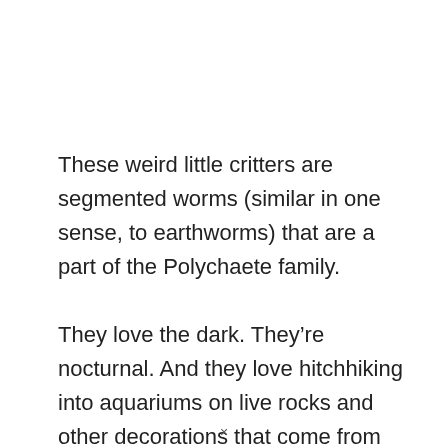These weird little critters are segmented worms (similar in one sense, to earthworms) that are a part of the Polychaete family.
They love the dark. They’re nocturnal. And they love hitchhiking into aquariums on live rocks and other decorations that come from pet stores and retailers.
×